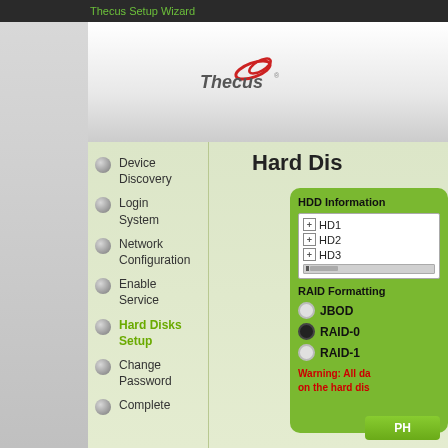Thecus Setup Wizard
[Figure (logo): Thecus logo with red swoosh and italic bold text 'Thecus']
Hard Dis
Device Discovery
Login System
Network Configuration
Enable Service
Hard Disks Setup
Change Password
Complete
HDD Information
HD1
HD2
HD3
RAID Formatting
JBOD
RAID-0
RAID-1
Warning: All da
on the hard dis